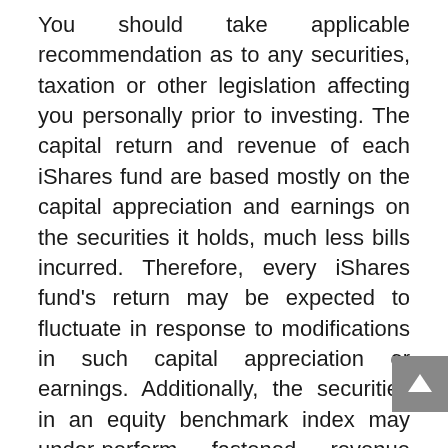You should take applicable recommendation as to any securities, taxation or other legislation affecting you personally prior to investing. The capital return and revenue of each iShares fund are based mostly on the capital appreciation and earnings on the securities it holds, much less bills incurred. Therefore, every iShares fund's return may be expected to fluctuate in response to modifications in such capital appreciation or earnings. Additionally, the securities in an equity benchmark index may under-perform fastened revenue investments and stock market investments that track different markets, segments or sectors different to that of an iShares fund.